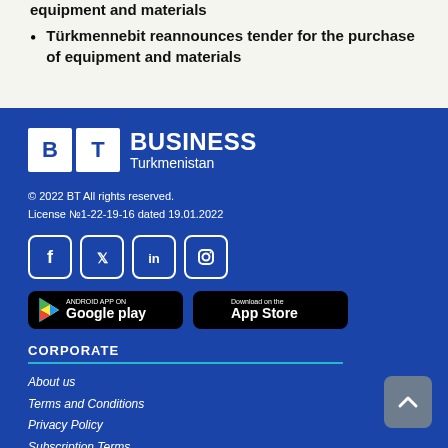equipment and materials
Türkmennebit reannounces tender for the purchase of equipment and materials
[Figure (logo): Business Turkmenistan logo with BT boxes and text]
© 2022 BT All rights reserved.
License №1-22-19-16 dated 19.01.2022
[Figure (infographic): Social media icons: Facebook, Twitter, LinkedIn, Instagram]
[Figure (infographic): Google Play and App Store download buttons]
CORPORATE
About us
Terms and Conditions
Privacy Policy
Subscription Terms